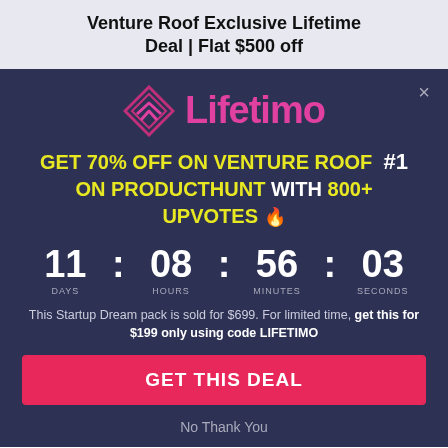Venture Roof Exclusive Lifetime Deal | Flat $500 off
[Figure (logo): Lifetimo logo with pink diamond-shaped icon and pink text 'Lifetimo']
GET 70% OFF ON VENTURE ROOF #1 ON PRODUCTHUNT with 800+ UPVOTES 🔥
11 : 08 : 56 : 03 DAYS HOURS MINUTES SECONDS
This Startup Dream pack is sold for $699. For limited time, get this for $199 only using code LIFETIMO
GET THIS DEAL
No Thank You